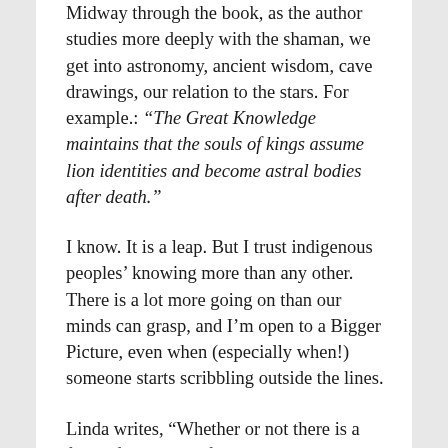Midway through the book, as the author studies more deeply with the shaman, we get into astronomy, ancient wisdom, cave drawings, our relation to the stars. For example.: “The Great Knowledge maintains that the souls of kings assume lion identities and become astral bodies after death.”
I know. It is a leap. But I trust indigenous peoples’ knowing more than any other. There is a lot more going on than our minds can grasp, and I’m open to a Bigger Picture, even when (especially when!) someone starts scribbling outside the lines.
Linda writes, “Whether or not there is a future for human life on this planet, I believe, is dependent at this evolutionary moment upon humankind’s consciousness-raising powers as a species. As guardians of the soul essence of humankind, the White Lions offer us entrance into other dimensions. In particular into what is known in spirit sources as the fifth dimension of the spiritual evolution of the soul. I believe that what